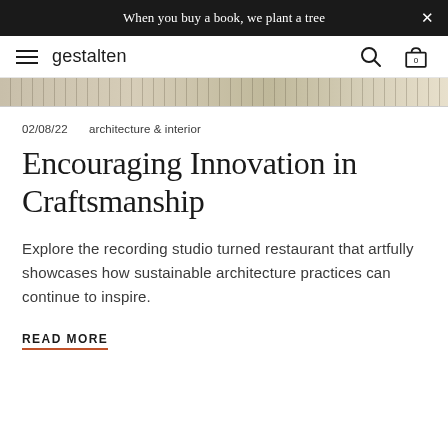When you buy a book, we plant a tree
gestalten
[Figure (photo): Horizontal image strip showing a decorative ruler or material sample in beige/tan tones]
02/08/22   architecture & interior
Encouraging Innovation in Craftsmanship
Explore the recording studio turned restaurant that artfully showcases how sustainable architecture practices can continue to inspire.
READ MORE